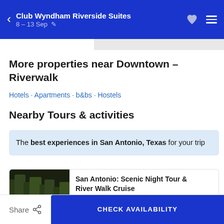Club Wyndham Riverside Suites · 8 – 13 Sep
More properties near Downtown – Riverwalk
Hotels · Apartments · b&bs · Hostels
Nearby Tours & activities
The best experiences in San Antonio, Texas for your trip
San Antonio: Scenic Night Tour & River Walk Cruise · 3 hours
Share · CHECK AVAILABILITY